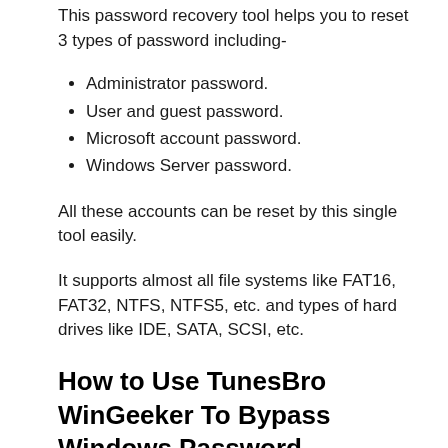This password recovery tool helps you to reset 3 types of password including-
Administrator password.
User and guest password.
Microsoft account password.
Windows Server password.
All these accounts can be reset by this single tool easily.
It supports almost all file systems like FAT16, FAT32, NTFS, NTFS5, etc. and types of hard drives like IDE, SATA, SCSI, etc.
How to Use TunesBro WinGeeker To Bypass Windows Password